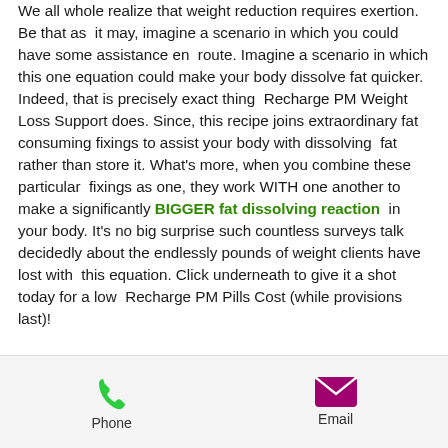We all whole realize that weight reduction requires exertion. Be that as it may, imagine a scenario in which you could have some assistance en route. Imagine a scenario in which this one equation could make your body dissolve fat quicker. Indeed, that is precisely exact thing Recharge PM Weight Loss Support does. Since, this recipe joins extraordinary fat consuming fixings to assist your body with dissolving fat rather than store it. What's more, when you combine these particular fixings as one, they work WITH one another to make a significantly BIGGER fat dissolving reaction in your body. It's no big surprise such countless surveys talk decidedly about the endlessly pounds of weight clients have lost with this equation. Click underneath to give it a shot today for a low Recharge PM Pills Cost (while provisions last)!
Phone | Email